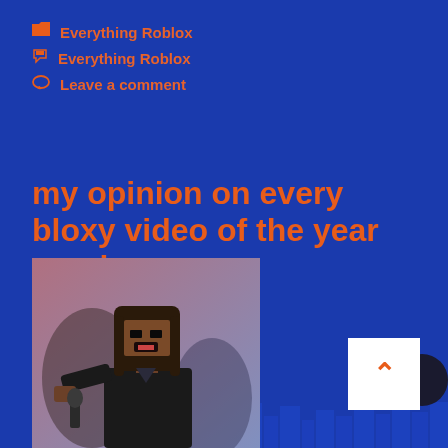📁 Everything Roblox
🏷 Everything Roblox
💬 Leave a comment
my opinion on every bloxy video of the year nominee
March 17, 2021 by Derik
[Figure (photo): Roblox character with long brown hair holding a microphone, mouth open, wearing dark clothing, with a pinkish-purple background]
[Figure (illustration): City skyline silhouette in dark blue at the bottom of the page]